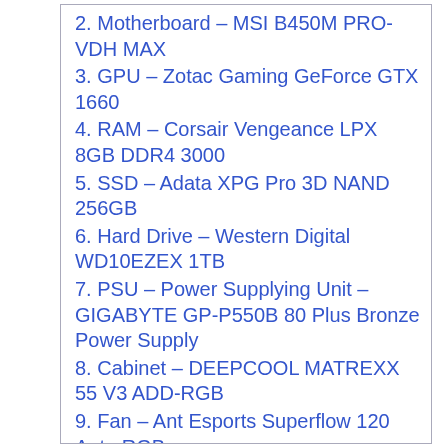2. Motherboard – MSI B450M PRO-VDH MAX
3. GPU – Zotac Gaming GeForce GTX 1660
4. RAM – Corsair Vengeance LPX 8GB DDR4 3000
5. SSD – Adata XPG Pro 3D NAND 256GB
6. Hard Drive – Western Digital WD10EZEX 1TB
7. PSU – Power Supplying Unit – GIGABYTE GP-P550B 80 Plus Bronze Power Supply
8. Cabinet – DEEPCOOL MATREXX 55 V3 ADD-RGB
9. Fan – Ant Esports Superflow 120 Auto RGB
10. Monitor – BenQ GW2480 24-inch (60.5 cm)
Conclusion: